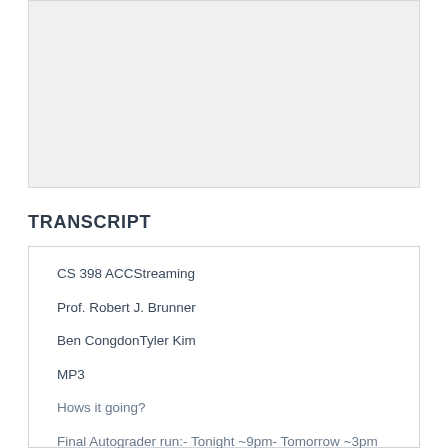[Figure (other): Gray placeholder rectangle representing an embedded image or video thumbnail]
TRANSCRIPT
CS 398 ACCStreaming
Prof. Robert J. Brunner
Ben CongdonTyler Kim
MP3
Hows it going?
Final Autograder run:- Tonight ~9pm- Tomorrow ~3pm